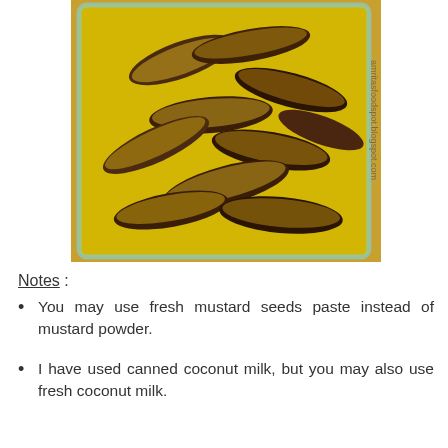[Figure (photo): Photo of cooked eggplant slices coated in yellow turmeric-mustard sauce in a glass baking dish, placed on a wooden surface. Watermark text visible on the right side.]
Notes :
You may use fresh mustard seeds paste instead of mustard powder.
I have used canned coconut milk, but you may also use fresh coconut milk.